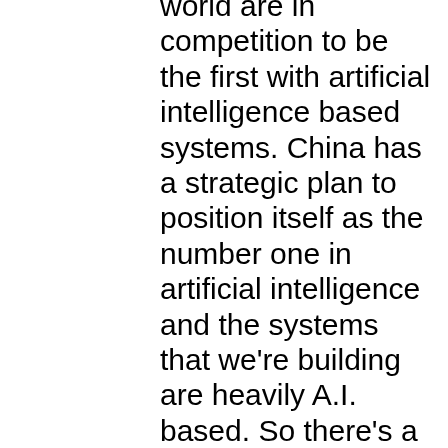world are in competition to be the first with artificial intelligence based systems. China has a strategic plan to position itself as the number one in artificial intelligence and the systems that we're building are heavily A.I. based. So there's a tremendous interest in China to see this company succeed. We have a lot of visibility in China. I believe we're going to see similar pressure in the U.S. as the U.S. regulators continue to advance their regulatory strategies. And we think that eventually there is going to be a U.S. versus China high competition and with our feet in both markets we think it can only help. Sure. And you'll have a set of feet on both continents and it'll be interesting to see how this develops. You know as a follow up though maybe I could ask you just a little bit more about your sense of where we stand in the U.S.